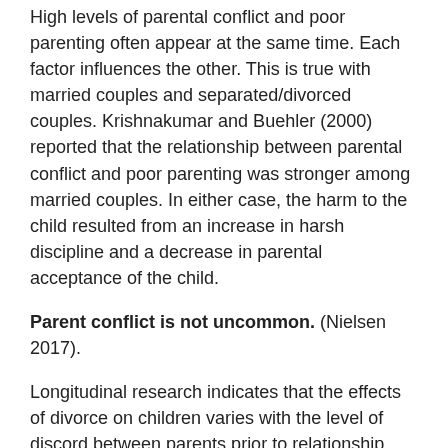High levels of parental conflict and poor parenting often appear at the same time. Each factor influences the other. This is true with married couples and separated/divorced couples. Krishnakumar and Buehler (2000) reported that the relationship between parental conflict and poor parenting was stronger among married couples. In either case, the harm to the child resulted from an increase in harsh discipline and a decrease in parental acceptance of the child.
Parent conflict is not uncommon. (Nielsen 2017).
Longitudinal research indicates that the effects of divorce on children varies with the level of discord between parents prior to relationship disruption. (Amato 2001]). Higher conflict is reflected in more negative effects on the child.
How couples handle their disagreements provides the model of conflict resolution that their children learn. Mild conflicts that are reasonably resolved, and do not focus on the child, have relatively benign effects on children. (Goeke-Morey et al. 2007). How often the parents fight, how intense/angry/hurtful they are, and how long such conflicts last, are all factors in the child's adjustment.
Parental divorce is not the end of harm.